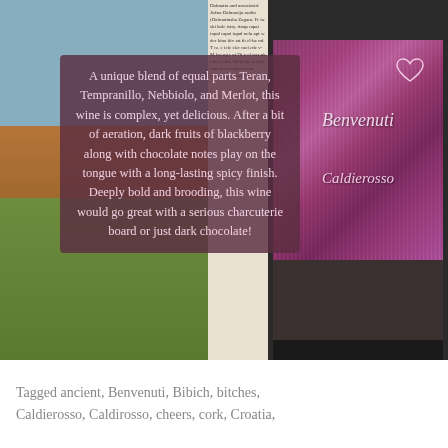[Figure (photo): Composite image: left side shows a vineyard/landscape scene with blue sky and terraced terrain; center shows a newspaper column with small text; right side shows a wine bottle (Benvenuti Caldierosso 2016) with purple/pink label against dark background. Overlaid on the left portion is a semi-transparent purple text box with a wine tasting description.]
A unique blend of equal parts Teran, Tempranillo, Nebbiolo, and Merlot, this wine is complex, yet delicious. After a bit of aeration, dark fruits of blackberry along with chocolate notes play on the tongue with a long-lasting spicy finish. Deeply bold and brooding, this wine would go great with a serious charcuterie board or just dark chocolate!
Tagged ancient, Benvenuti, Bibich, bitches, Caldierosso, Caldirosso, cheers, cork, Croatia,